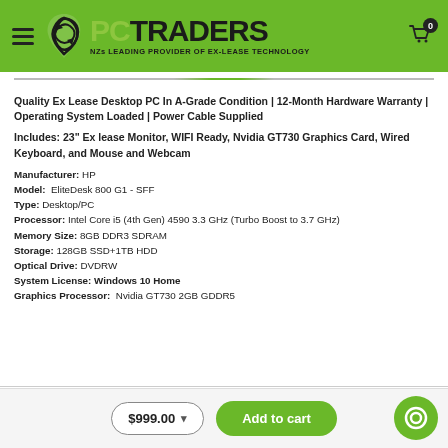[Figure (logo): PC Traders logo with green spiral icon and tagline 'NZs LEADING PROVIDER OF EX-LEASE TECHNOLOGY' on green header bar]
Quality Ex Lease Desktop PC In A-Grade Condition | 12-Month Hardware Warranty | Operating System Loaded | Power Cable Supplied
Includes: 23" Ex lease Monitor, WIFI Ready, Nvidia GT730 Graphics Card, Wired Keyboard, and Mouse and Webcam
Manufacturer: HP
Model: EliteDesk 800 G1 - SFF
Type: Desktop/PC
Processor: Intel Core i5 (4th Gen) 4590 3.3 GHz (Turbo Boost to 3.7 GHz)
Memory Size: 8GB DDR3 SDRAM
Storage: 128GB SSD+1TB HDD
Optical Drive: DVDRW
System License: Windows 10 Home
Graphics Processor: Nvidia GT730 2GB GDDR5
$999.00  Add to cart